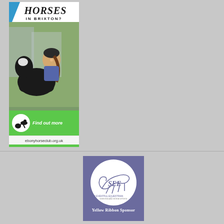[Figure (illustration): Advertisement for Ebony Horse Club showing text 'Horses in Brixton?' at top, a photo of a young woman in riding helmet with a horse, a green section with the club logo and 'Find out more', and website ebonyhorseclub.org.uk at bottom]
[Figure (logo): Yellow Ribbon Sponsor advertisement with purple background, white circle containing SEE (Seriously Eventful Equestrian) logo with horse silhouette, and text 'Yellow Ribbon Sponsor' at bottom]